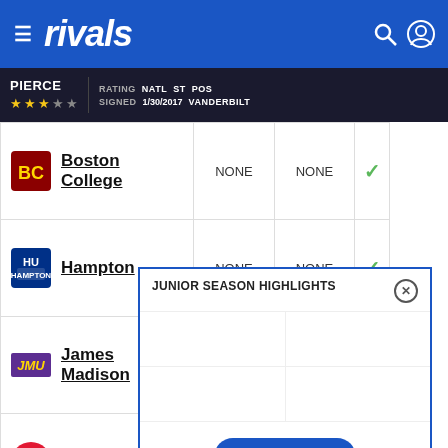[Figure (screenshot): Rivals.com website header with hamburger menu, rivals logo, search and user icons on blue background]
PIERCE | RATING NATL ST POS | SIGNED 1/30/2017 VANDERBILT | ★★★☆☆
| School |  |  |  |
| --- | --- | --- | --- |
| Boston College | NONE | NONE | ✓ |
| Hampton | NONE | NONE | ✓ |
| James Madison |  |  |  |
| Maryland | NONE | NONE | ✓ |
SPOTLIGHT REEL
JUNIOR SEASON HIGHLIGHTS
SHOW ALL